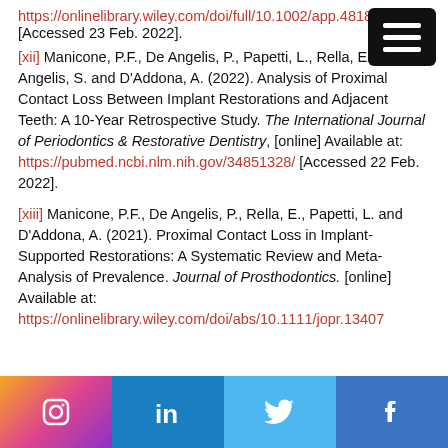https://onlinelibrary.wiley.com/doi/full/10.1002/app.48180 [Accessed 23 Feb. 2022].
[xii] Manicone, P.F., De Angelis, P., Papetti, L., Rella, E., De Angelis, S. and D'Addona, A. (2022). Analysis of Proximal Contact Loss Between Implant Restorations and Adjacent Teeth: A 10-Year Retrospective Study. The International Journal of Periodontics & Restorative Dentistry, [online] Available at: https://pubmed.ncbi.nlm.nih.gov/34851328/ [Accessed 22 Feb. 2022].
[xiii] Manicone, P.F., De Angelis, P., Rella, E., Papetti, L. and D'Addona, A. (2021). Proximal Contact Loss in Implant-Supported Restorations: A Systematic Review and Meta-Analysis of Prevalence. Journal of Prosthodontics. [online] Available at: https://onlinelibrary.wiley.com/doi/abs/10.1111/jopr.13407
[Figure (infographic): Social media footer bar with icons for Instagram, LinkedIn, Twitter, and Facebook]